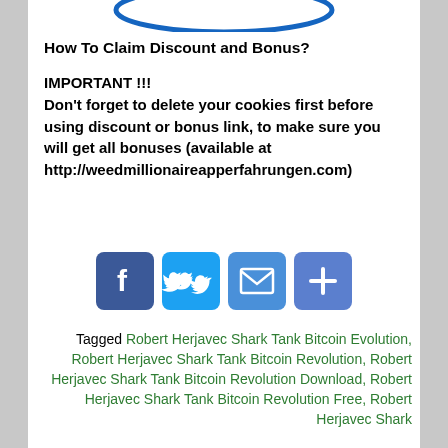[Figure (logo): Partial logo — blue ellipse/oval shape at top of page]
How To Claim Discount and Bonus?
IMPORTANT !!! Don't forget to delete your cookies first before using discount or bonus link, to make sure you will get all bonuses (available at http://weedmillionaireapperfahrungen.com)
[Figure (infographic): Social share buttons: Facebook, Twitter, Email, Plus/More]
Tagged Robert Herjavec Shark Tank Bitcoin Evolution, Robert Herjavec Shark Tank Bitcoin Revolution, Robert Herjavec Shark Tank Bitcoin Revolution Download, Robert Herjavec Shark Tank Bitcoin Revolution Free, Robert Herjavec Shark